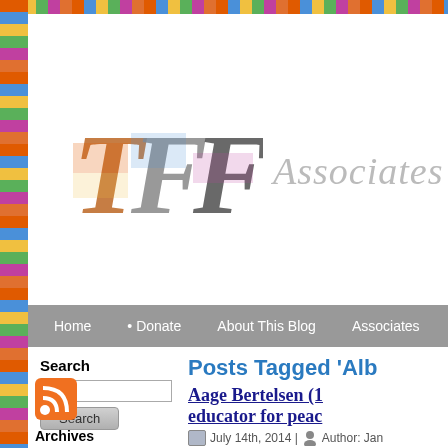[Figure (logo): TFF Associates blog logo with colorful decorative letters TFF and grey italic 'Associates' text on white background, with multicolored striped border on top and left]
Home  • Donate  About This Blog  Associates
Search
Posts Tagged 'Alb
Aage Bertelsen (1  educator for peac
July 14th, 2014 |  Author: Jan
By Jan Oberg & Johan Galtun